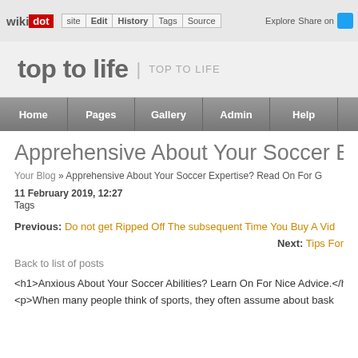wikidot | site | Edit | History | Tags | Source | Explore | Share on [twitter]
top to life | TOP TO LIFE
Home | Pages | Gallery | Admin | Help
Apprehensive About Your Soccer Experti...
Your Blog » Apprehensive About Your Soccer Expertise? Read On For G...
11 February 2019, 12:27
Tags
Previous: Do not get Ripped Off The subsequent Time You Buy A Vid...
Next: Tips For...
Back to list of posts
<h1>Anxious About Your Soccer Abilities? Learn On For Nice Advice.</h1>
<p>When many people think of sports, they often assume about bask...